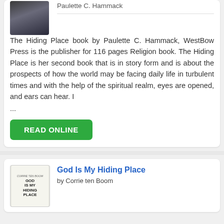Paulette C. Hammack
The Hiding Place book by Paulette C. Hammack, WestBow Press is the publisher for 116 pages Religion book. The Hiding Place is her second book that is in story form and is about the prospects of how the world may be facing daily life in turbulent times and with the help of the spiritual realm, eyes are opened, and ears can hear. I ...
READ ONLINE
God Is My Hiding Place
by Corrie ten Boom